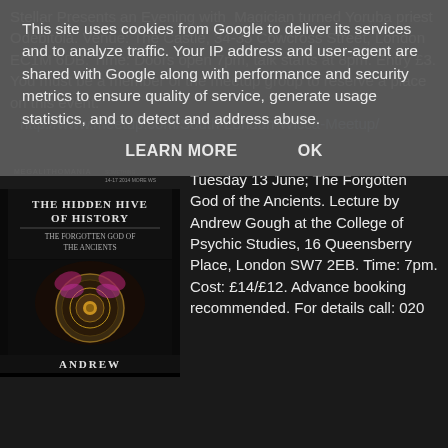This site uses cookies from Google to deliver its services and to analyze traffic. Your IP address and user-agent are shared with Google along with performance and security metrics to ensure quality of service, generate usage statistics, and to detect and address abuse.
LEARN MORE    OK
Stellar Presents an Evening with  Magician turned Yoruba priest Odebitola. Venue: The Castle, 34-35 Cowcross Street, London EC1M 6DB. Time: Doors open 7pm, talk starts at 8pm. Entry £3. You must be a member of the meetup group to reserve a place on this event: http://www.meetup.com/South-London-Wicca-Meetup/
[Figure (illustration): Book cover for 'The Hidden Hive of History: The Forgotten God of the Ancients' by Andrew, published by Megalithomania. Features decorative imagery including a bee and ornate designs.]
Tuesday 13 June; The Forgotten God of the Ancients. Lecture by Andrew Gough at the College of Psychic Studies, 16 Queensberry Place, London SW7 2EB. Time: 7pm. Cost: £14/£12. Advance booking recommended. For details call: 020